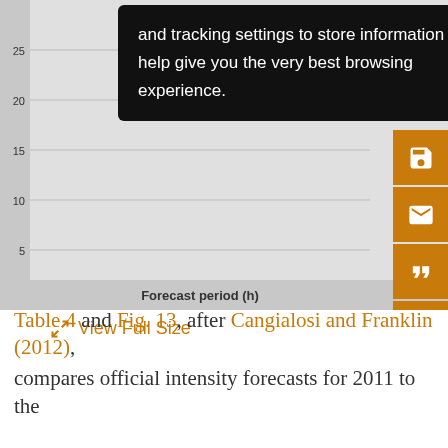[Figure (continuous-plot): Partial view of a line chart showing forecast period (h) on x-axis and track error (possibly) on y-axis with values 5, 10, 15, 20, 25. Multiple lines visible partially. A black cookie consent overlay covers most of the chart. Labels 'Mo' and 'Wea' partially visible on right side.]
and tracking settings to store information that help give you the very best browsing experience.
Forecast period (h)
View Full Size
Table 4 and Fig. 13, after Cangialosi and Franklin (2012), compares official intensity forecasts for 2011 to the